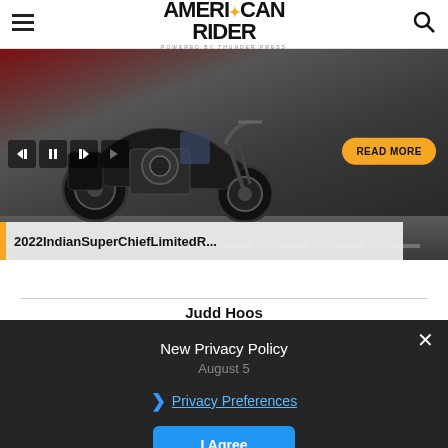AMERICAN RIDER powered by THUNDER PRESS
[Figure (photo): Hero image of a black Indian Super Chief motorcycle on a road with transport controls, a READ MORE button, and a title bar reading '2022IndianSuperChiefLimitedR...']
2022IndianSuperChiefLimitedR...
Judd Hoos
August 5
New Privacy Policy
August 5
Privacy Preferences
I Agree